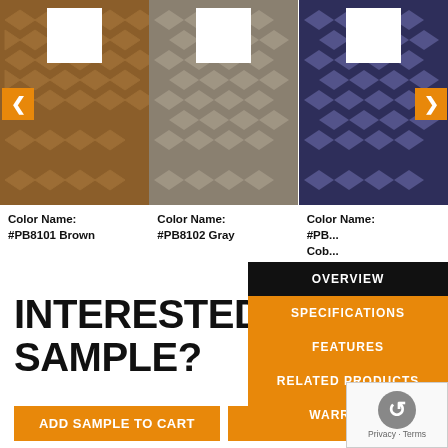[Figure (photo): Three rug product images with diamond/geometric pattern. Left: brown rug (#PB8101 Brown), Center: gray rug (#PB8102 Gray), Right: navy/cobalt rug. Each has a white swatch box overlay. Left image has left navigation arrow; right image has right navigation arrow.]
Color Name:
#PB8101 Brown
Color Name:
#PB8102 Gray
Color Name:
#PB... Cobalt
INTERESTED IN A FREE SAMPLE?
OVERVIEW
SPECIFICATIONS
FEATURES
RELATED PRODUCTS
WARRANTY
ADD SAMPLE TO CART
REQUEST CUSTOM